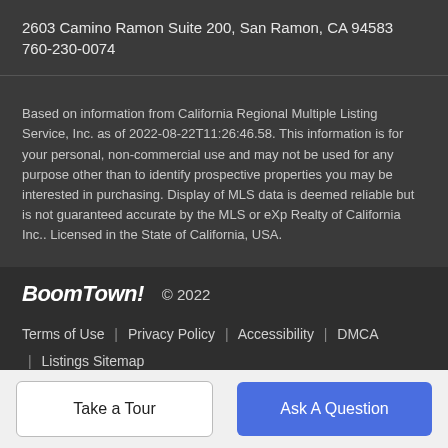2603 Camino Ramon Suite 200, San Ramon, CA 94583
760-230-0074
Based on information from California Regional Multiple Listing Service, Inc. as of 2022-08-22T11:26:46.58. This information is for your personal, non-commercial use and may not be used for any purpose other than to identify prospective properties you may be interested in purchasing. Display of MLS data is deemed reliable but is not guaranteed accurate by the MLS or eXp Realty of California Inc.. Licensed in the State of California, USA.
BoomTown! © 2022  Terms of Use | Privacy Policy | Accessibility | DMCA | Listings Sitemap
Take a Tour   Ask A Question